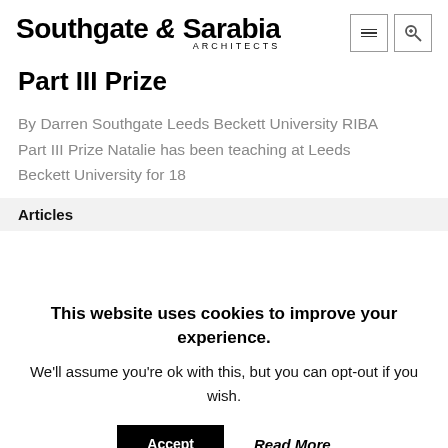Southgate & Sarabia ARCHITECTS
Part III Prize
By Darren Southgate Leeds Beckett University RIBA Part III Prize Natalie has been teaching at Leeds Beckett University for 18
Articles
This website uses cookies to improve your experience.
We'll assume you're ok with this, but you can opt-out if you wish.
Accept   Read More